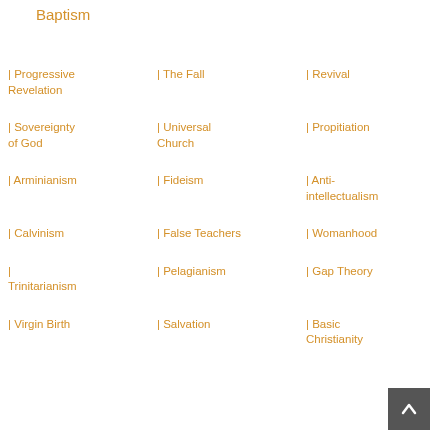Baptism
| Progressive Revelation
| The Fall
| Revival
| Sovereignty of God
| Universal Church
| Propitiation
| Arminianism
| Fideism
| Anti-intellectualism
| Calvinism
| False Teachers
| Womanhood
| Trinitarianism
| Pelagianism
| Gap Theory
| Virgin Birth
| Salvation
| Basic Christianity